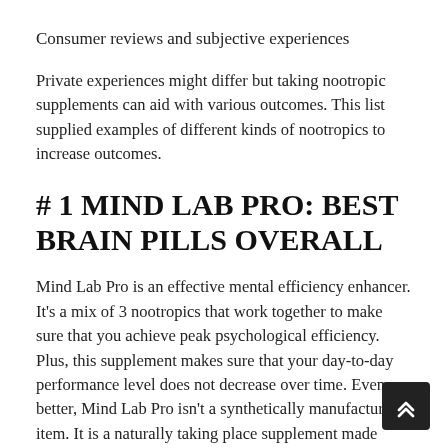Consumer reviews and subjective experiences
Private experiences might differ but taking nootropic supplements can aid with various outcomes. This list supplied examples of different kinds of nootropics to increase outcomes.
# 1 MIND LAB PRO: BEST BRAIN PILLS OVERALL
Mind Lab Pro is an effective mental efficiency enhancer. It's a mix of 3 nootropics that work together to make sure that you achieve peak psychological efficiency. Plus, this supplement makes sure that your day-to-day performance level does not decrease over time. Even better, Mind Lab Pro isn't a synthetically manufactured item. It is a naturally taking place supplement made from raw